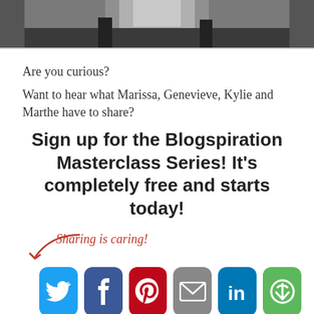[Figure (photo): Top portion of a person's face/head, cropped photo used as page banner]
Are you curious?
Want to hear what Marissa, Genevieve, Kylie and Marthe have to share?
Sign up for the Blogspiration Masterclass Series! It's completely free and starts today!
[Figure (infographic): Sharing is caring! label with a red arrow pointing to social media sharing icons: Twitter (light blue), Facebook (dark blue), Pinterest (red), Email (grey), LinkedIn (blue), More/share (green)]